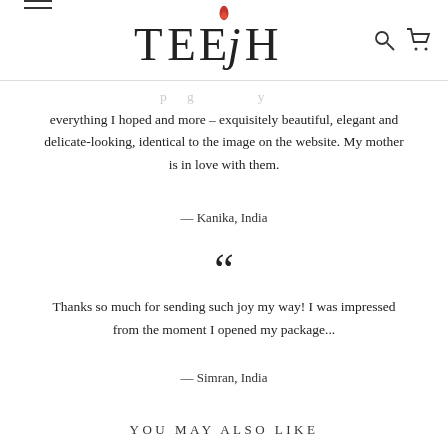[Figure (logo): TEEJH brand logo with a red candle flame above the J letter]
everything I hoped and more – exquisitely beautiful, elegant and delicate-looking, identical to the image on the website. My mother is in love with them.
— Kanika, India
““
Thanks so much for sending such joy my way! I was impressed from the moment I opened my package...
— Simran, India
YOU MAY ALSO LIKE